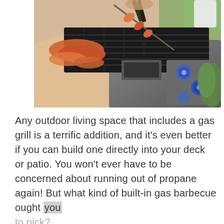[Figure (photo): Close-up photo of a gas grill with meat skewers and various grilled foods on the grill grates, with a person holding tongs, blue control knobs visible on the side, and greenery in the background.]
Any outdoor living space that includes a gas grill is a terrific addition, and it’s even better if you can build one directly into your deck or patio. You won’t ever have to be concerned about running out of propane again! But what kind of built-in gas barbecue ought you to pick?